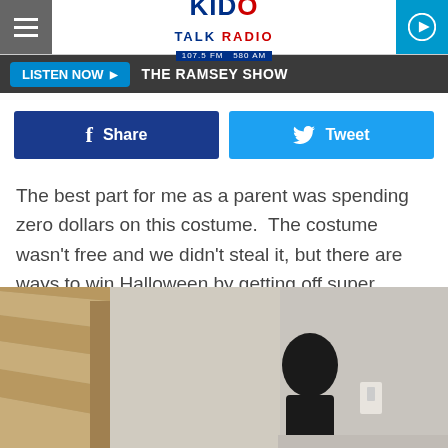KIDO TALK RADIO 107.5 FM 580 AM
LISTEN NOW ▶   THE RAMSEY SHOW
Share   Tweet
The best part for me as a parent was spending zero dollars on this costume.  The costume wasn't free and we didn't steal it, but there are ways to win Halloween by getting off super cheap, and this is one of them.
[Figure (photo): Photo of a child in a dark costume visible from behind, standing at the base of a staircase in a home interior.]